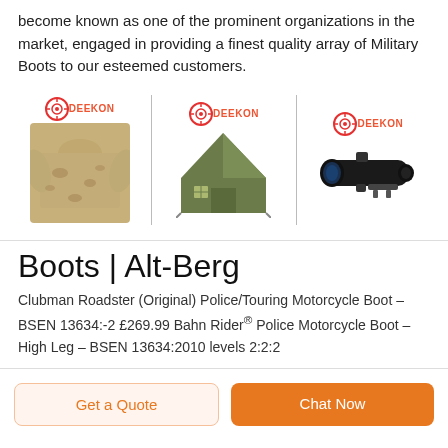become known as one of the prominent organizations in the market, engaged in providing a finest quality array of Military Boots to our esteemed customers.
[Figure (photo): Three product images side by side with DEEKON logos: a military camouflage uniform/shirt on left, a green military tent in center, and a rifle scope on right.]
Boots | Alt-Berg
Clubman Roadster (Original) Police/Touring Motorcycle Boot – BSEN 13634:-2 £269.99 Bahn Rider® Police Motorcycle Boot – High Leg – BSEN 13634:2010 levels 2:2:2
Get a Quote
Chat Now